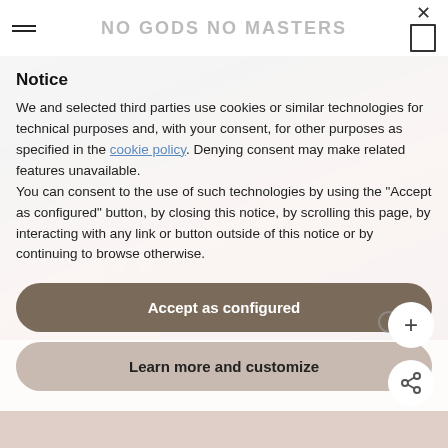NO GODS NO MASTERS
Notice
We and selected third parties use cookies or similar technologies for technical purposes and, with your consent, for other purposes as specified in the cookie policy. Denying consent may make related features unavailable.
You can consent to the use of such technologies by using the “Accept as configured” button, by closing this notice, by scrolling this page, by interacting with any link or button outside of this notice or by continuing to browse otherwise.
Accept as configured
Learn more and customize
[Figure (screenshot): Background photo of fabric/textile with 'NO MASTERS' text watermark in pinkish red tones, with a beige/mauve lower section. Floating action buttons (+ and share icon) visible at bottom right.]